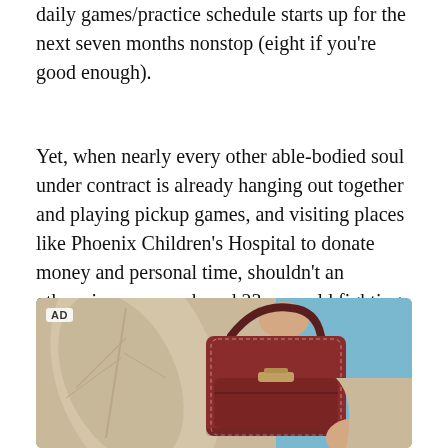daily games/practice schedule starts up for the next seven months nonstop (eight if you're good enough).
Yet, when nearly every other able-bodied soul under contract is already hanging out together and playing pickup games, and visiting places like Phoenix Children's Hospital to donate money and personal time, shouldn't an otherwise unencumbered 23-year old fighting for his NBA stardom, nay his NBA future, be with them?
[Figure (photo): Advertisement image showing a person holding a dark red/burgundy leather handbag with a handle and front pocket, wearing a beige/tan outfit, with a light blue sky in the background. 'AD' label in top-left corner.]